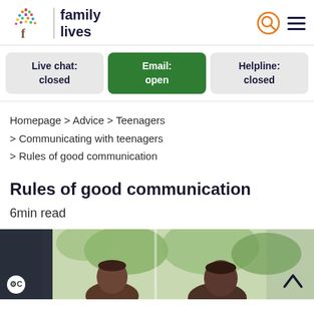family lives
Live chat: closed
Email: open
Helpline: closed
Homepage > Advice > Teenagers > Communicating with teenagers > Rules of good communication
Rules of good communication
6min read
[Figure (photo): Two people (likely a parent and teenager) photographed from behind/side, indoors near a window with green foliage visible outside.]